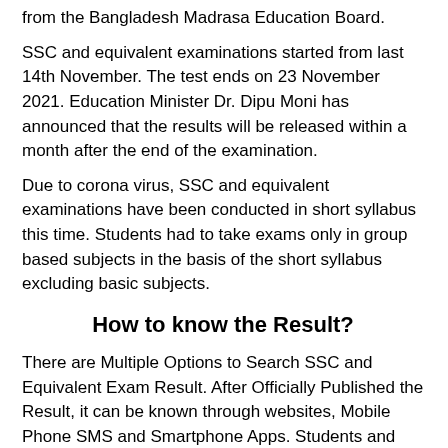from the Bangladesh Madrasa Education Board.
SSC and equivalent examinations started from last 14th November. The test ends on 23 November 2021. Education Minister Dr. Dipu Moni has announced that the results will be released within a month after the end of the examination.
Due to corona virus, SSC and equivalent examinations have been conducted in short syllabus this time. Students had to take exams only in group based subjects in the basis of the short syllabus excluding basic subjects.
How to know the Result?
There are Multiple Options to Search SSC and Equivalent Exam Result. After Officially Published the Result, it can be known through websites, Mobile Phone SMS and Smartphone Apps. Students and Guardians can Collect SSC Result 2021 with Traditional ways also. SSC, Dakhil and SSC Vocational Result will be available on School, Madrasah and Institutions. It will be also available on Exam Centers.